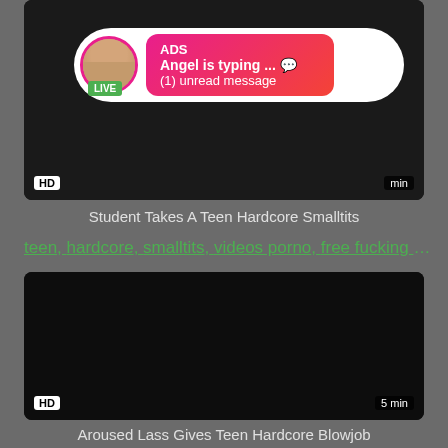[Figure (screenshot): Video thumbnail showing black background with HD badge bottom-left and time indicator. An advertisement overlay shows a circular avatar with LIVE badge, and a pink-red gradient chat bubble saying 'ADS', 'Angel is typing ... 💬', '(1) unread message'.]
Student Takes A Teen Hardcore Smalltits
teen, hardcore, smalltits, videos porno, free fucking vide...
[Figure (screenshot): Black video thumbnail with HD badge bottom-left and '5 min' badge bottom-right.]
Aroused Lass Gives Teen Hardcore Blowjob